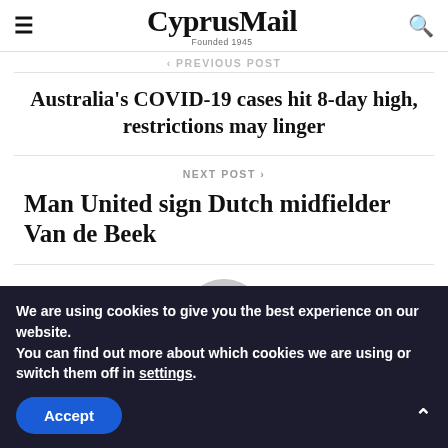CyprusMail — Founded 1945
‹ PREVIOUS POST
Australia's COVID-19 cases hit 8-day high, restrictions may linger
NEXT POST ›
Man United sign Dutch midfielder Van de Beek
[Figure (illustration): Circular grey avatar placeholder icon]
We are using cookies to give you the best experience on our website.
You can find out more about which cookies we are using or switch them off in settings.
Accept